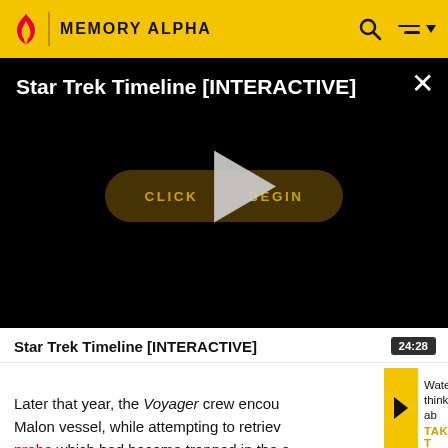MEMORY ALPHA
[Figure (screenshot): Video player showing 'Star Trek Timeline [INTERACTIVE]' with play button and 'CLICK TO BEGIN' button overlay on black background. Close button (×) in top right.]
Star Trek Timeline [INTERACTIVE]
24:28
Later that year, the Voyager crew encou... Malon vessel, while attempting to retriev... probe which had become trapped in the a...
[Figure (illustration): Small thumbnail card with purple background showing watermark-style icon, with text 'Watermn think ab' and 'TAKE T']